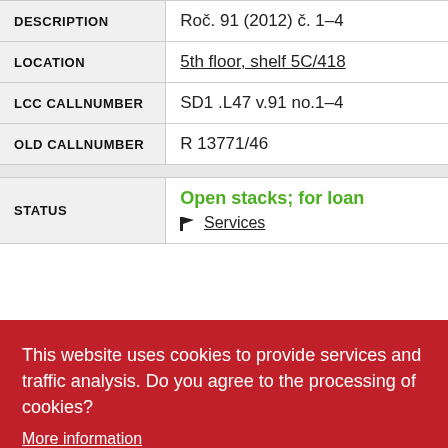| Field | Value |
| --- | --- |
| DESCRIPTION | Roč. 91 (2012) č. 1–4 |
| LOCATION | 5th floor, shelf 5C/418 |
| LCC CALLNUMBER | SD1 .L47 v.91 no.1–4 |
| OLD CALLNUMBER | R 13771/46 |
| STATUS | Open stacks; for loan
🏴 Services |
This website uses cookies to provide services and traffic analysis. Do you agree to the processing of cookies?
More information
I refuse
I accept
| Field | Value |
| --- | --- |
|  | SD1 .L47 v.91 no.9–12 |